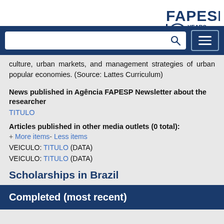[Figure (logo): FAPESP 60 YEARS 1962-2022 logo in top right corner]
culture, urban markets, and management strategies of urban popular economies. (Source: Lattes Curriculum)
News published in Agência FAPESP Newsletter about the researcher
TITULO
Articles published in other media outlets (0 total):
+ More items- Less items
VEICULO: TITULO (DATA)
VEICULO: TITULO (DATA)
Scholarships in Brazil
Completed (most recent)